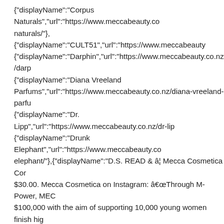{"displayName":"Corpus Naturals","url":"https://www.meccabeauty.co/naturals/"},{"displayName":"CULT51","url":"https://www.meccabeauty {"displayName":"Darphin","url":"https://www.meccabeauty.co.nz/darp {"displayName":"Diana Vreeland Parfums","url":"https://www.meccabeauty.co.nz/diana-vreeland-parfu {"displayName":"Dr. Lipp","url":"https://www.meccabeauty.co.nz/dr-lip {"displayName":"Drunk Elephant","url":"https://www.meccabeauty.co elephant/"},{"displayName":"D.S. READ & â… Mecca Cosmetica Cor $30.00. Mecca Cosmetica on Instagram: “Through M-Power, MEC $100,000 with the aim of supporting 10,000 young women finish hig @katiejanehughes usesâ€¦â€ & DURGA","url":"https://www.meccabe durga/"},{"displayName":"Ere Perez","url":"https://www.meccabeauty perez/"},{"displayName":"Escentric Molecules","url":"https://www.meccabeauty.co.nz/escentric-molecule {"displayName":"Estée Lauder","url":"https://www.meccabeauty.co.nz {"displayName":"Floral Street","url":"https://www.meccabeauty.co.nz/ {"displayName":"Frank Body","url":"https://www.meccabeauty.co.nz/f